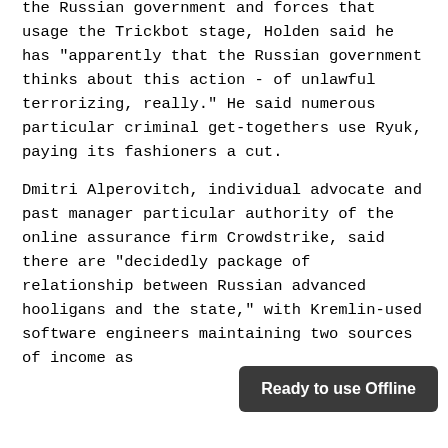the Russian government and forces that usage the Trickbot stage, Holden said he has "apparently that the Russian government thinks about this action - of unlawful terrorizing, really." He said numerous particular criminal get-togethers use Ryuk, paying its fashioners a cut.
Dmitri Alperovitch, individual advocate and past manager particular authority of the online assurance firm Crowdstrike, said there are "decidedly package of relationship between Russian advanced hooligans and the state," with Kremlin-used software engineers maintaining two sources of income as
Ready to use Offline